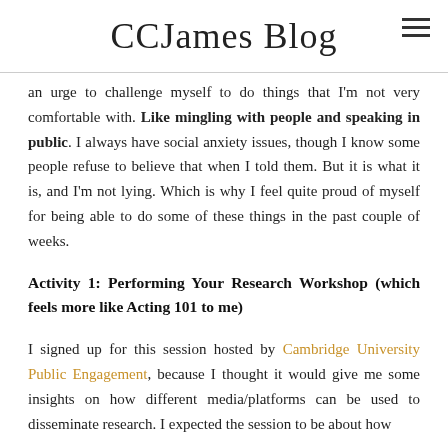CCJames Blog
an urge to challenge myself to do things that I'm not very comfortable with. Like mingling with people and speaking in public. I always have social anxiety issues, though I know some people refuse to believe that when I told them. But it is what it is, and I'm not lying. Which is why I feel quite proud of myself for being able to do some of these things in the past couple of weeks.
Activity 1: Performing Your Research Workshop (which feels more like Acting 101 to me)
I signed up for this session hosted by Cambridge University Public Engagement, because I thought it would give me some insights on how different media/platforms can be used to disseminate research. I expected the session to be about how